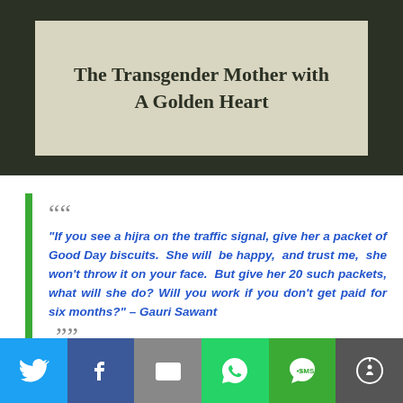[Figure (illustration): Dark green framed box containing a beige/tan rectangle with the title text 'The Transgender Mother with A Golden Heart']
The Transgender Mother with A Golden Heart
“If you see a hijra on the traffic signal, give her a packet of Good Day biscuits. She will be happy, and trust me, she won’t throw it on your face. But give her 20 such packets, what will she do? Will you work if you don’t get paid for six months?” – Gauri Sawant